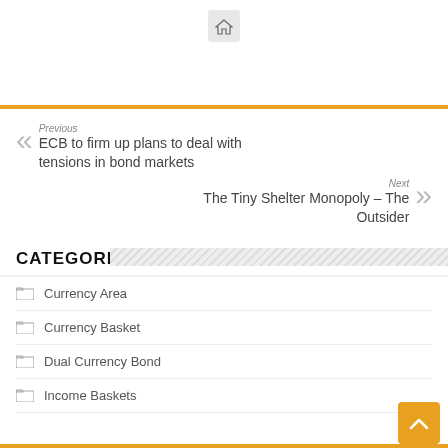[Figure (other): Home icon button in a grey rounded square]
Previous
ECB to firm up plans to deal with tensions in bond markets
Next
The Tiny Shelter Monopoly – The Outsider
CATEGORIES
Currency Area
Currency Basket
Dual Currency Bond
Income Baskets